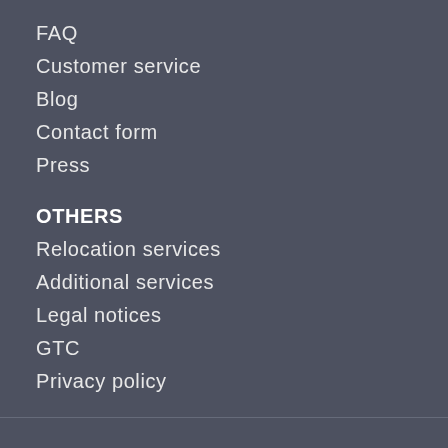FAQ
Customer service
Blog
Contact form
Press
OTHERS
Relocation services
Additional services
Legal notices
GTC
Privacy policy
[Figure (logo): Social media icons for Facebook, Twitter, and Instagram in circular outlines, plus a checkmark/logo mark in the bottom left]